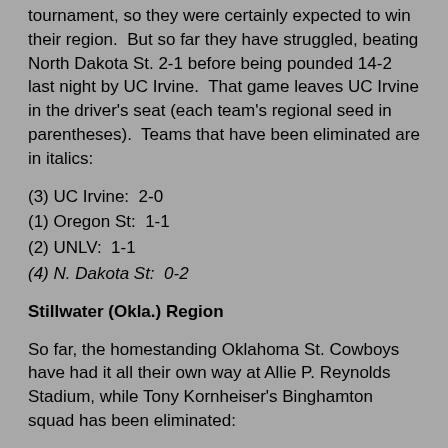tournament, so they were certainly expected to win their region.  But so far they have struggled, beating North Dakota St. 2-1 before being pounded 14-2 last night by UC Irvine.  That game leaves UC Irvine in the driver's seat (each team's regional seed in parentheses).  Teams that have been eliminated are in italics:
(3) UC Irvine:  2-0
(1) Oregon St:  1-1
(2) UNLV:  1-1
(4) N. Dakota St:  0-2
Stillwater (Okla.) Region
So far, the homestanding Oklahoma St. Cowboys have had it all their own way at Allie P. Reynolds Stadium, while Tony Kornheiser's Binghamton squad has been eliminated:
(1) Oklahoma St:  2-0
(2) Nebraska:  1-1
(3)  Cal St. Fullerton:  1-1
(4) Binghamton:  0-2